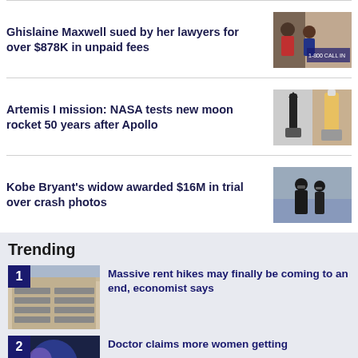Ghislaine Maxwell sued by her lawyers for over $878K in unpaid fees
[Figure (photo): Photo related to Ghislaine Maxwell news story]
Artemis I mission: NASA tests new moon rocket 50 years after Apollo
[Figure (photo): Two photos of rockets - Apollo and Artemis]
Kobe Bryant's widow awarded $16M in trial over crash photos
[Figure (photo): Photo of Vanessa Bryant outside courthouse]
Trending
Massive rent hikes may finally be coming to an end, economist says
[Figure (photo): Apartment building exterior]
Doctor claims more women getting